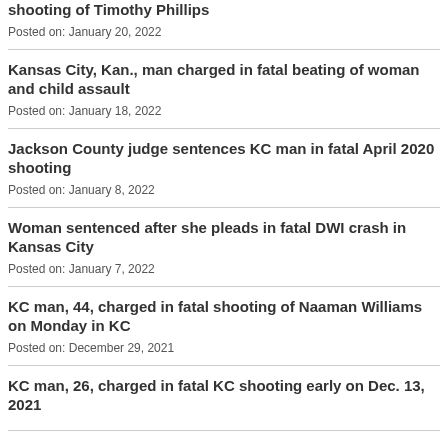shooting of Timothy Phillips
Posted on: January 20, 2022
Kansas City, Kan., man charged in fatal beating of woman and child assault
Posted on: January 18, 2022
Jackson County judge sentences KC man in fatal April 2020 shooting
Posted on: January 8, 2022
Woman sentenced after she pleads in fatal DWI crash in Kansas City
Posted on: January 7, 2022
KC man, 44, charged in fatal shooting of Naaman Williams on Monday in KC
Posted on: December 29, 2021
KC man, 26, charged in fatal KC shooting early on Dec. 13, 2021